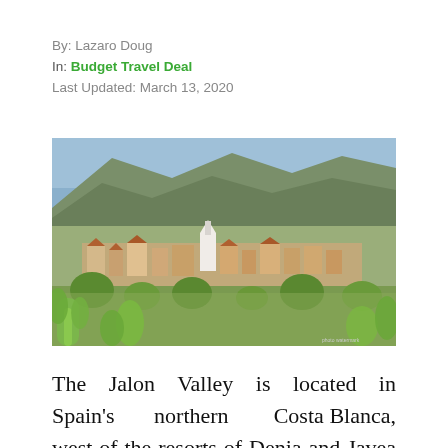By: Lazaro Doug
In: Budget Travel Deal
Last Updated: March 13, 2020
[Figure (photo): Aerial/elevated view of a Spanish town (Jalon Valley) nestled in a hillside with mountains in the background and green cacti/vegetation in the foreground]
The Jalon Valley is located in Spain's northern Costa Blanca, west of the resorts of Denia and Javea contributing